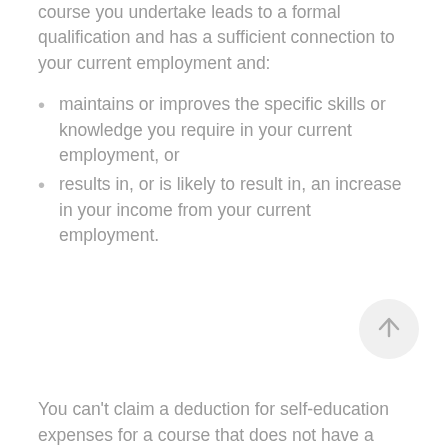course you undertake leads to a formal qualification and has a sufficient connection to your current employment and:
maintains or improves the specific skills or knowledge you require in your current employment, or
results in, or is likely to result in, an increase in your income from your current employment.
[Figure (other): Circular scroll-to-top button with upward arrow icon]
You can't claim a deduction for self-education expenses for a course that does not have a